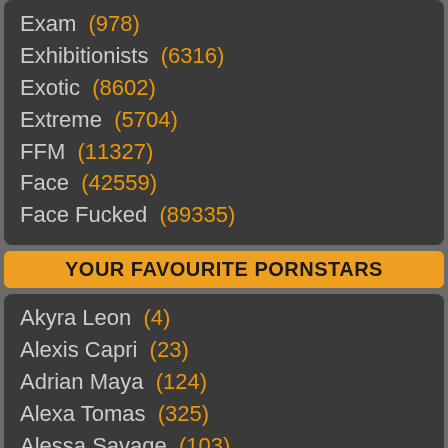Exam (978)
Exhibitionists (6316)
Exotic (8602)
Extreme (5704)
FFM (11327)
Face (42559)
Face Fucked (89335)
YOUR FAVOURITE PORNSTARS
Akyra Leon (4)
Alexis Capri (23)
Adrian Maya (124)
Alexa Tomas (325)
Alessa Savage (103)
Alex Little (58)